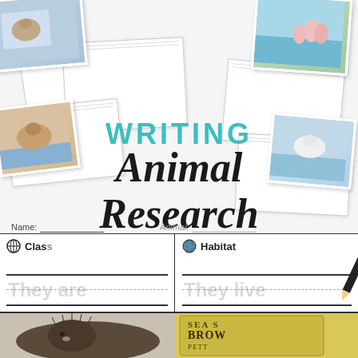[Figure (illustration): Educational product cover showing 'Writing Animal Research Reports' with photo collage of animals and worksheet previews including tracing lines for 'They are' and 'They live']
WRITING Animal Research REPORTS
Name:
[Figure (screenshot): Worksheet preview showing two sections: 'Class' with tracing text 'They are' and 'Habitat' with tracing text 'They live']